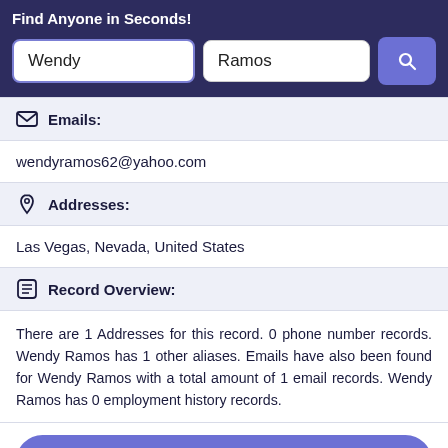Find Anyone in Seconds!
[Figure (screenshot): Search bar with two input fields: 'Wendy' (first name) and 'Ramos' (last name), and a blue search button with a magnifying glass icon.]
Emails:
wendyramos62@yahoo.com
Addresses:
Las Vegas, Nevada, United States
Record Overview:
There are 1 Addresses for this record. 0 phone number records. Wendy Ramos has 1 other aliases. Emails have also been found for Wendy Ramos with a total amount of 1 email records. Wendy Ramos has 0 employment history records.
Open Report >
Quick Overview